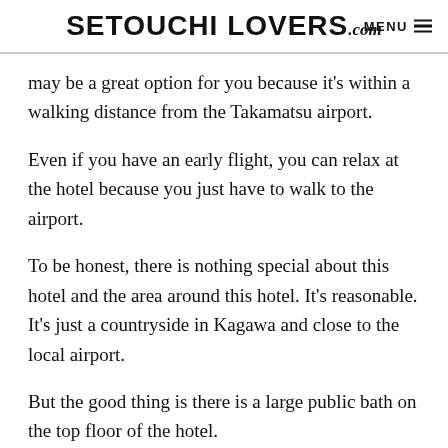SETOUCHI LOVERS.com MENU
may be a great option for you because it's within a walking distance from the Takamatsu airport.
Even if you have an early flight, you can relax at the hotel because you just have to walk to the airport.
To be honest, there is nothing special about this hotel and the area around this hotel. It's reasonable. It's just a countryside in Kagawa and close to the local airport.
But the good thing is there is a large public bath on the top floor of the hotel.